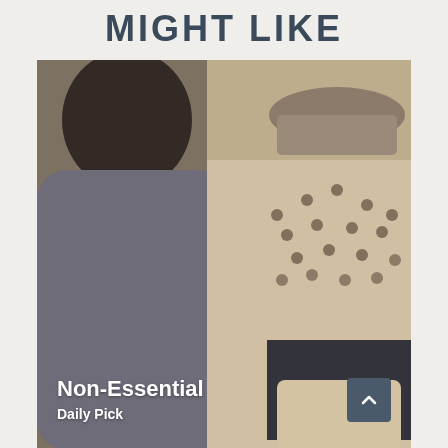MIGHT LIKE
[Figure (photo): A blurry photo showing a person from behind on the left side with dark hair and grey clothing, and a white wall with dark polka-dot pattern lampshade in the upper right, plus a dark framed artwork with beige pillow in the lower right. Overlaid text reads 'Non-Essential' and 'Daily Pick'.]